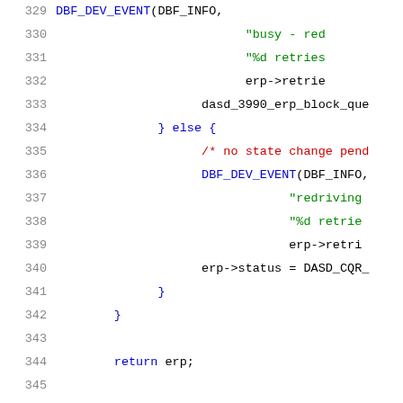[Figure (screenshot): Source code listing showing C code lines 329-350, with line numbers on the left, syntax-highlighted in blue (keywords), green (strings), and red (comments).]